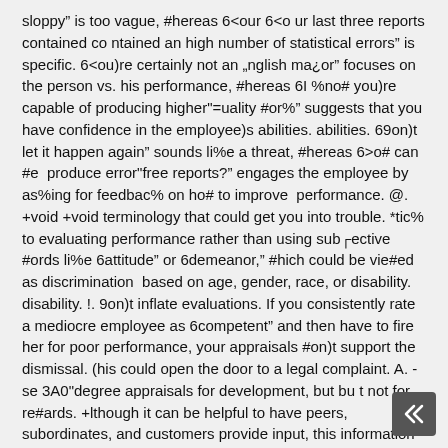sloppy” is too vague, #hereas 6<our 6<o ur last three reports contained co ntained an high number of statistical errors” is specific. 6<ou)re certainly not an „nglish ma¿or” focuses on the person vs. his performance, #hereas 6I %no# you)re capable of producing higher"=uality #or%” suggests that you have confidence in the employee)s abilities. abilities. 69on)t let it happen again” sounds li%e a threat, #hereas 6>o# can #e  produce error"free reports?” engages the employee by as%ing for feedbac% on ho# to improve  performance. @. +void +void terminology that could get you into trouble. *tic% to evaluating performance rather than using sub┌ective #ords li%e 6attitude” or 6demeanor,” #hich could be vie#ed as discrimination  based on age, gender, race, or disability. disability. !. 9on)t inflate evaluations. If you consistently rate a mediocre employee as 6competent” and then have to fire her for poor performance, your appraisals #on)t support the dismissal. (his could open the door to a legal complaint. A. -se 3A0"degree appraisals for development, but bu t not for re#ards. +lthough it can be helpful to have peers, subordinates, and customers provide input, this information usually doesn)t produce valid data for assessing an employee)s performance. 5or e┌ample, if peers are a#are that their input #ill affect pay increases and promotions, they may be b e sub┌ective Boverly positive or negativeC and not objective. 7. *et the tone appropriately.